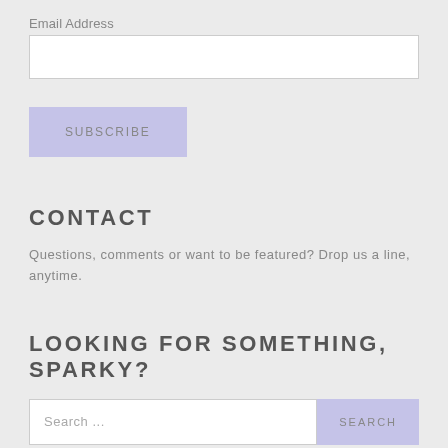Email Address
SUBSCRIBE
CONTACT
Questions, comments or want to be featured? Drop us a line, anytime.
LOOKING FOR SOMETHING, SPARKY?
Search ...